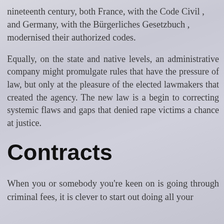nineteenth century, both France, with the Code Civil , and Germany, with the Bürgerliches Gesetzbuch , modernised their authorized codes.
Equally, on the state and native levels, an administrative company might promulgate rules that have the pressure of law, but only at the pleasure of the elected lawmakers that created the agency. The new law is a begin to correcting systemic flaws and gaps that denied rape victims a chance at justice.
Contracts
When you or somebody you're keen on is going through criminal fees, it is clever to start out doing all your